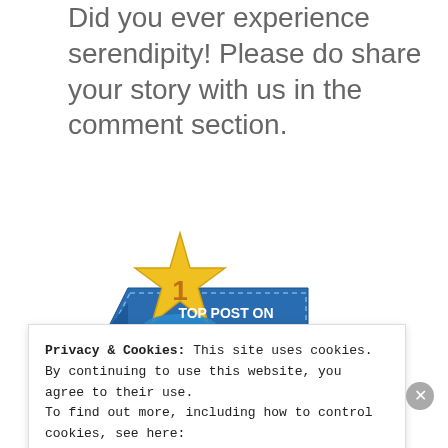Did you ever experience serendipity! Please do share your story with us in the comment section.
[Figure (illustration): Top Post on Indiblogger badge — a gold star with ribbon and text 'TOP POST ON INDIBLOGGER']
Advertisements
[Figure (screenshot): Advertisement banner with red background and white bold text: 'Search, browse, and email']
Privacy & Cookies: This site uses cookies. By continuing to use this website, you agree to their use.
To find out more, including how to control cookies, see here:
Cookie Policy
Close and accept